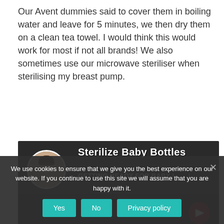Our Avent dummies said to cover them in boiling water and leave for 5 minutes, we then dry them on a clean tea towel. I would think this would work for most if not all brands! We also sometimes use our microwave steriliser when sterilising my breast pump.
[Figure (screenshot): Video thumbnail for 'Sterilize Baby Bottles - GETTING READY FOR BABY |...' with a woman's avatar circle on the left, bold white text overlay, and dark background.]
We use cookies to ensure that we give you the best experience on our website. If you continue to use this site we will assume that you are happy with it.